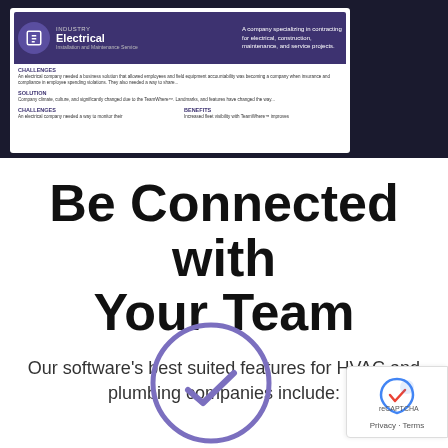[Figure (screenshot): Screenshot of a case study document for an electrical company using TeamWhere software, shown on a dark navy background. The document shows sections for Industry (Electrical), Challenges, Solution, Benefits.]
Be Connected with Your Team
Our software's best suited features for HVAC and plumbing companies include:
[Figure (illustration): A clock icon drawn in purple/lavender outline style, showing a checkmark inside instead of clock hands, suggesting scheduling or time-tracking feature.]